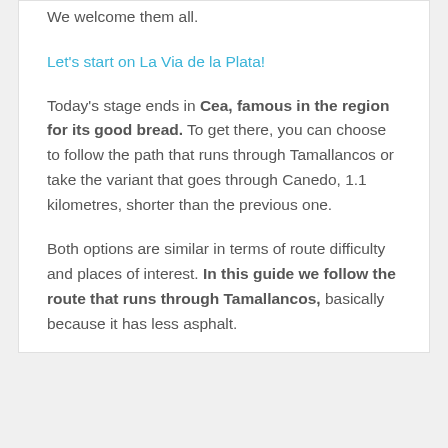We welcome them all.
Let's start on La Via de la Plata!
Today's stage ends in Cea, famous in the region for its good bread. To get there, you can choose to follow the path that runs through Tamallancos or take the variant that goes through Canedo, 1.1 kilometres, shorter than the previous one.
Both options are similar in terms of route difficulty and places of interest. In this guide we follow the route that runs through Tamallancos, basically because it has less asphalt.